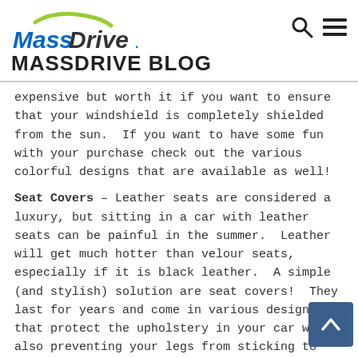MassDrive - MASSDRIVE BLOG
expensive but worth it if you want to ensure that your windshield is completely shielded from the sun.  If you want to have some fun with your purchase check out the various colorful designs that are available as well!
Seat Covers – Leather seats are considered a luxury, but sitting in a car with leather seats can be painful in the summer.  Leather will get much hotter than velour seats, especially if it is black leather.  A simple (and stylish) solution are seat covers!  They last for years and come in various designs that protect the upholstery in your car while also preventing your legs from sticking to the seats! ShearComfort is a seat cover retailer where you can search for seat covers based on the make of the car or by style.  You can have a lot of fun with the various designs and materials such as sheepskin, hawaiian, velour, animal print, and neoprene.  All of their seat covers are custom